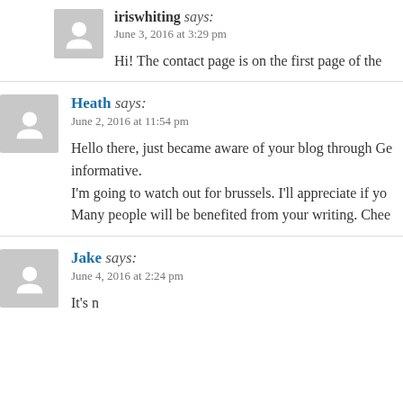iriswhiting says: June 3, 2016 at 3:29 pm
Hi! The contact page is on the first page of the
Heath says: June 2, 2016 at 11:54 pm
Hello there, just became aware of your blog through Go informative. I'm going to watch out for brussels. I'll appreciate if yo Many people will be benefited from your writing. Chee
Jake says: June 4, 2016 at 2:24 pm